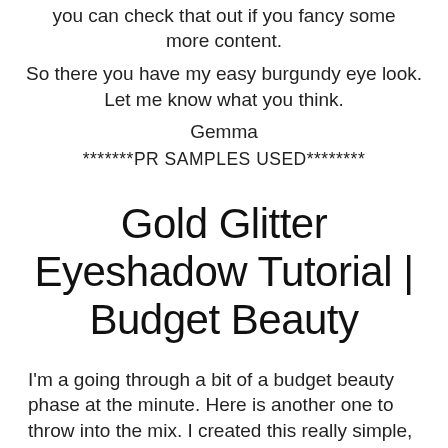you can check that out if you fancy some more content.
So there you have my easy burgundy eye look. Let me know what you think.
Gemma
*******PR SAMPLES USED********
Gold Glitter Eyeshadow Tutorial | Budget Beauty
I'm a going through a bit of a budget beauty phase at the minute. Here is another one to throw into the mix. I created this really simple, but I think effective, gold glitter eyeshadow look